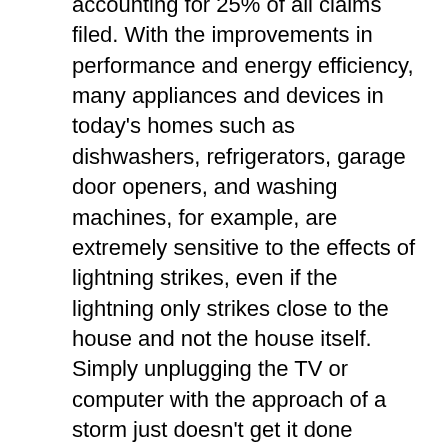accounting for 25% of all claims filed. With the improvements in performance and energy efficiency, many appliances and devices in today's homes such as dishwashers, refrigerators, garage door openers, and washing machines, for example, are extremely sensitive to the effects of lightning strikes, even if the lightning only strikes close to the house and not the house itself. Simply unplugging the TV or computer with the approach of a storm just doesn't get it done anymore! As consumers become educated about the danger and the damaging effects of lightning on modern electronics and appliances, the demand for protection against the hazards of lightning and associated surges has increased.
So....what can you do to protect your home's electrical system and your electronics and appliances from the ravages of lightning? You need surge protection. These devices will divert the surge caused by lightning safely to ground, thus protecting the sensitive electronics found in modern appliances, home theater systems, computers, security systems, and almost every other plug in and hardwired device that makes our lives easier. Surge protection devices need to be properly grounded and should have an indicator light that